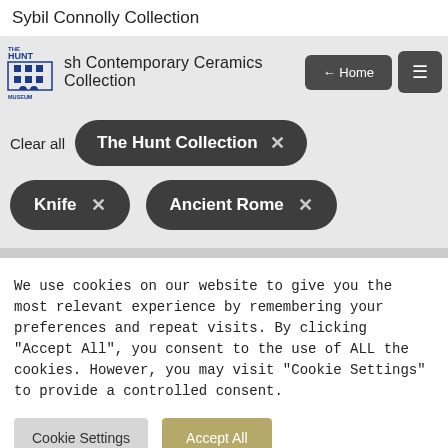Sybil Connolly Collection
Irish Contemporary Ceramics Collection
Clear all
The Hunt Collection ×
Knife ×
Ancient Rome ×
We use cookies on our website to give you the most relevant experience by remembering your preferences and repeat visits. By clicking "Accept All", you consent to the use of ALL the cookies. However, you may visit "Cookie Settings" to provide a controlled consent.
Cookie Settings
Accept All